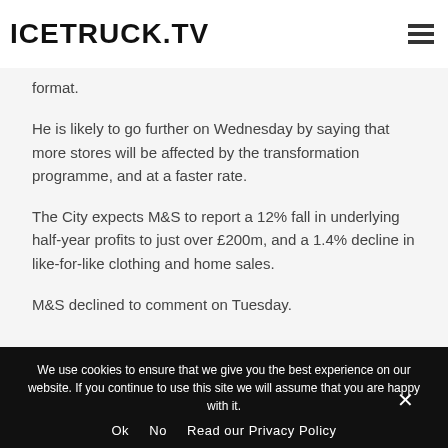ICETRUCK.TV
format.
He is likely to go further on Wednesday by saying that more stores will be affected by the transformation programme, and at a faster rate.
The City expects M&S to report a 12% fall in underlying half-year profits to just over £200m, and a 1.4% decline in like-for-like clothing and home sales.
M&S declined to comment on Tuesday.
We use cookies to ensure that we give you the best experience on our website. If you continue to use this site we will assume that you are happy with it.
Ok   No   Read our Privacy Policy